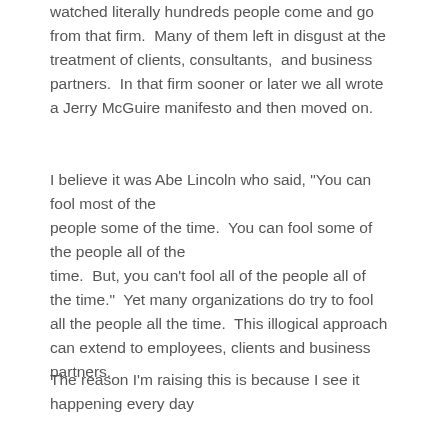watched literally hundreds people come and go from that firm.  Many of them left in disgust at the treatment of clients, consultants,  and business partners.  In that firm sooner or later we all wrote a Jerry McGuire manifesto and then moved on.
I believe it was Abe Lincoln who said, "You can fool most of the people some of the time.  You can fool some of the people all of the time.  But, you can't fool all of the people all of the time."  Yet many organizations do try to fool all the people all the time.  This illogical approach can extend to employees, clients and business partners.
The reason I'm raising this is because I see it happening every day